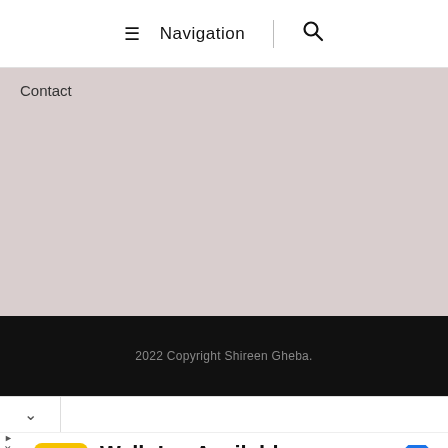≡ Navigation | 🔍
Contact
2022 Copyright Shireen Gheba.
[Figure (screenshot): Advertisement for Hair Cuttery: Walk-Ins Available, Hair Cuttery logo (HC in yellow circle), blue turn arrow icon]